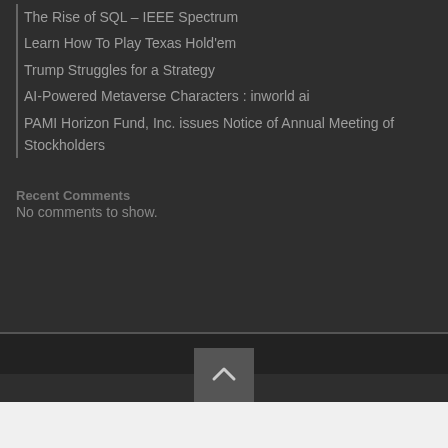The Rise of SQL – IEEE Spectrum
Learn How To Play Texas Hold'em
Trump Struggles for a Strategy
AI-Powered Metaverse Characters : inworld ai
PAMI Horizon Fund, Inc. issues Notice of Annual Meeting of Stockholders
Recent Comments
No comments to show.